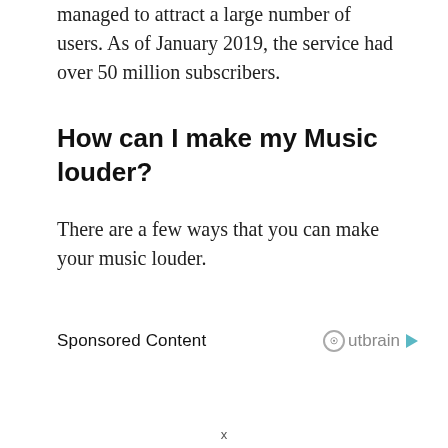managed to attract a large number of users. As of January 2019, the service had over 50 million subscribers.
How can I make my Music louder?
There are a few ways that you can make your music louder.
Sponsored Content                       Outbrain
x